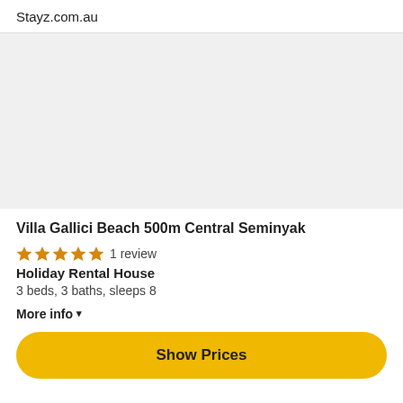Stayz.com.au
[Figure (photo): Light grey placeholder image area for property photo]
Villa Gallici Beach 500m Central Seminyak
1 review
Holiday Rental House
3 beds, 3 baths, sleeps 8
More info ▾
Show Prices